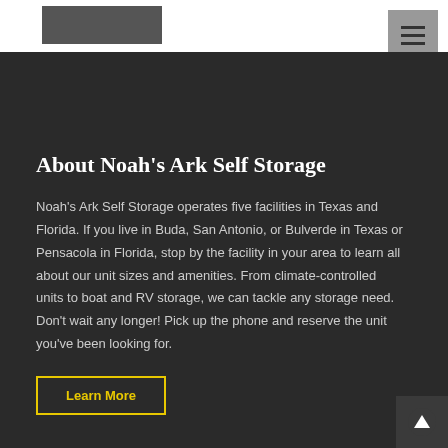[Figure (logo): Noah's Ark Self Storage logo placeholder in dark gray]
About Noah's Ark Self Storage
Noah's Ark Self Storage operates five facilities in Texas and Florida. If you live in Buda, San Antonio, or Bulverde in Texas or Pensacola in Florida, stop by the facility in your area to learn all about our unit sizes and amenities. From climate-controlled units to boat and RV storage, we can tackle any storage need. Don't wait any longer! Pick up the phone and reserve the unit you've been looking for.
Learn More